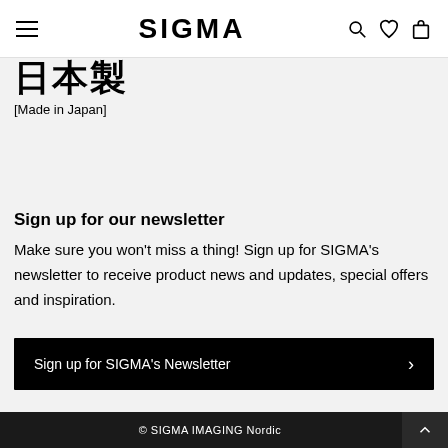SIGMA
[Figure (other): Japanese kanji characters (日本製) rendered in bold black text]
[Made in Japan]
Sign up for our newsletter
Make sure you won't miss a thing! Sign up for SIGMA's newsletter to receive product news and updates, special offers and inspiration.
Sign up for SIGMA's Newsletter
© SIGMA IMAGING Nordic